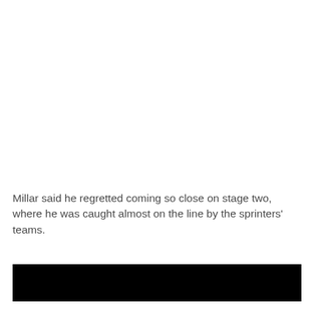Millar said he regretted coming so close on stage two, where he was caught almost on the line by the sprinters' teams.
[Figure (other): Black rectangular bar at the bottom of the page, likely a redacted or decorative element.]